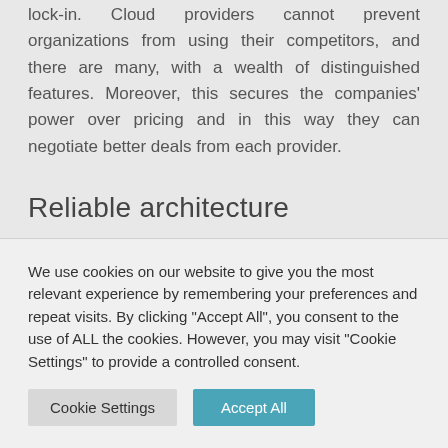lock-in. Cloud providers cannot prevent organizations from using their competitors, and there are many, with a wealth of distinguished features. Moreover, this secures the companies' power over pricing and in this way they can negotiate better deals from each provider.
Reliable architecture
When adopting the multi-cloud approach, companies are able to provide their customers with the same applications' performance and speed, no matter where
We use cookies on our website to give you the most relevant experience by remembering your preferences and repeat visits. By clicking "Accept All", you consent to the use of ALL the cookies. However, you may visit "Cookie Settings" to provide a controlled consent.